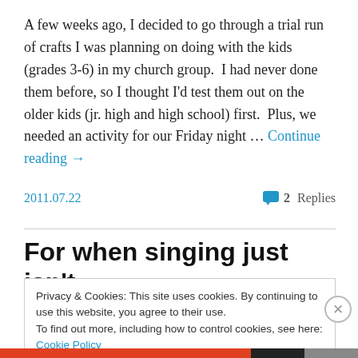A few weeks ago, I decided to go through a trial run of crafts I was planning on doing with the kids (grades 3-6) in my church group.  I had never done them before, so I thought I'd test them out on the older kids (jr. high and high school) first.  Plus, we needed an activity for our Friday night … Continue reading →
2011.07.22
2 Replies
For when singing just isn't
Privacy & Cookies: This site uses cookies. By continuing to use this website, you agree to their use.
To find out more, including how to control cookies, see here: Cookie Policy
Close and accept